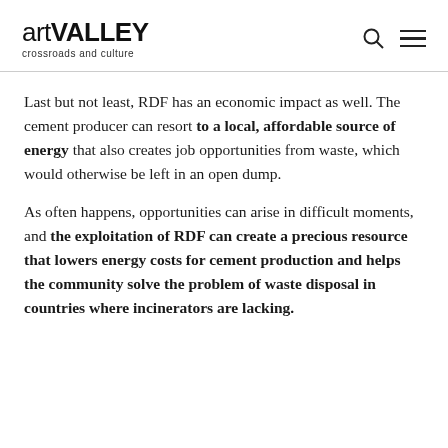artVALLEY crossroads and culture
Last but not least, RDF has an economic impact as well. The cement producer can resort to a local, affordable source of energy that also creates job opportunities from waste, which would otherwise be left in an open dump.
As often happens, opportunities can arise in difficult moments, and the exploitation of RDF can create a precious resource that lowers energy costs for cement production and helps the community solve the problem of waste disposal in countries where incinerators are lacking.